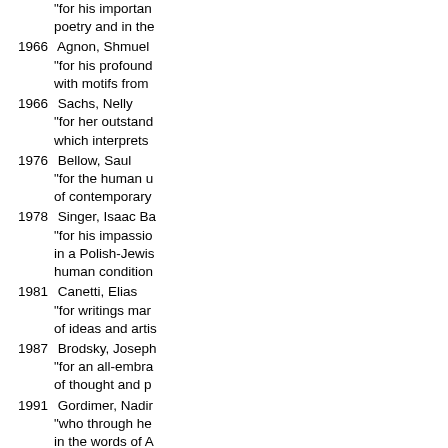"for his importan poetry and in the
1966  Agnon, Shmuel "for his profound with motifs from
1966  Sachs, Nelly "for her outstand which interprets
1976  Bellow, Saul "for the human u of contemporary
1978  Singer, Isaac Ba "for his impassio in a Polish-Jewis human condition
1981  Canetti, Elias "for writings mar of ideas and artis
1987  Brodsky, Joseph "for an all-embra of thought and p
1991  Gordimer, Nadir "who through he in the words of A
2002  Kertesz, Imre "for writing that u of the individual
Total number of Jewish